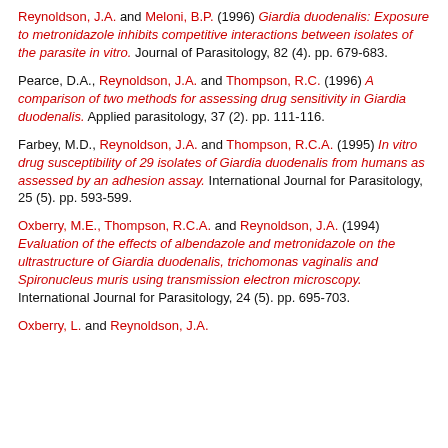Reynoldson, J.A. and Meloni, B.P. (1996) Giardia duodenalis: Exposure to metronidazole inhibits competitive interactions between isolates of the parasite in vitro. Journal of Parasitology, 82 (4). pp. 679-683.
Pearce, D.A., Reynoldson, J.A. and Thompson, R.C. (1996) A comparison of two methods for assessing drug sensitivity in Giardia duodenalis. Applied parasitology, 37 (2). pp. 111-116.
Farbey, M.D., Reynoldson, J.A. and Thompson, R.C.A. (1995) In vitro drug susceptibility of 29 isolates of Giardia duodenalis from humans as assessed by an adhesion assay. International Journal for Parasitology, 25 (5). pp. 593-599.
Oxberry, M.E., Thompson, R.C.A. and Reynoldson, J.A. (1994) Evaluation of the effects of albendazole and metronidazole on the ultrastructure of Giardia duodenalis, trichomonas vaginalis and Spironucleus muris using transmission electron microscopy. International Journal for Parasitology, 24 (5). pp. 695-703.